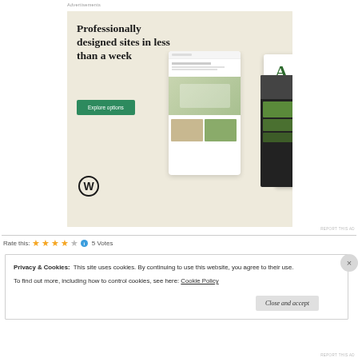Advertisements
[Figure (screenshot): WordPress advertisement banner: beige/cream background with text 'Professionally designed sites in less than a week', a green 'Explore options' button, WordPress logo (W in circle), and mockup images of website designs on mobile/tablet screens.]
REPORT THIS AD
Rate this: ★★★★☆ ℹ 5 Votes
Privacy & Cookies:  This site uses cookies. By continuing to use this website, you agree to their use.
To find out more, including how to control cookies, see here: Cookie Policy
Close and accept
REPORT THIS AD